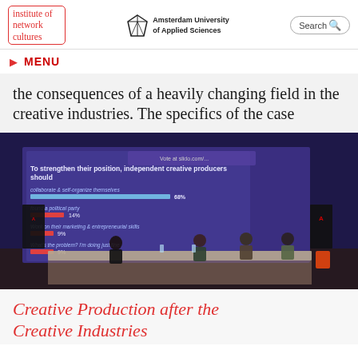institute of network cultures | Amsterdam University of Applied Sciences | Search
MENU
the consequences of a heavily changing field in the creative industries. The specifics of the case
[Figure (photo): Panel discussion at a conference venue with four panelists seated at a table. Behind them is a projected presentation slide showing survey results. The slide reads: 'To strengthen their position, independent creative producers should' with bar chart results: 'collaborate & self-organize themselves 68%', 'found a political party 14%', 'work on their marketing & entrepreneurial skills 9%', 'What's the problem? I'm doing just fine 9%'. Amsterdam University of Applied Sciences branding visible.]
Creative Production after the Creative Industries